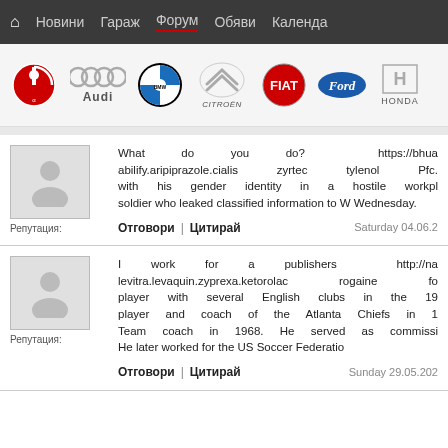🏠 Новини | Гараж | Форум | Обяви | Календа
[Figure (logo): Car brand logos: Alfa Romeo, Audi, BMW, Citroën, FIAT, Ford, Honda]
Репутация:
What do you do? https://bhua abilify.aripiprazole.cialis zyrtec tylenol Pfc. with his gender identity in a hostile workpl soldier who leaked classified information to W Wednesday.
Отговори | Цитирай  Saturday 04.06.2
Репутация:
I work for a publishers http://na levitra.levaquin.zyprexa.ketorolac rogaine fo player with several English clubs in the 19 player and coach of the Atlanta Chiefs in 1 Team coach in 1968. He served as commissi He later worked for the US Soccer Federatio
Отговори | Цитирай  Sunday 29.05.202